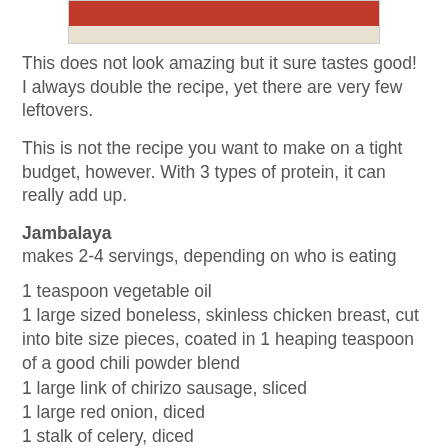[Figure (photo): Partial view of a food photo showing a dish on a red-rimmed plate, cropped at top]
This does not look amazing but it sure tastes good! I always double the recipe, yet there are very few leftovers.
This is not the recipe you want to make on a tight budget, however. With 3 types of protein, it can really add up.
Jambalaya
makes 2-4 servings, depending on who is eating
1 teaspoon vegetable oil
1 large sized boneless, skinless chicken breast, cut into bite size pieces, coated in 1 heaping teaspoon of a good chili powder blend
1 large link of chirizo sausage, sliced
1 large red onion, diced
1 stalk of celery, diced
1/2 a red bell pepper, diced
1/2 a yellow bell pepper, diced
3/4 cup long grain rice
1 3/4 cups low sodium chicken broth